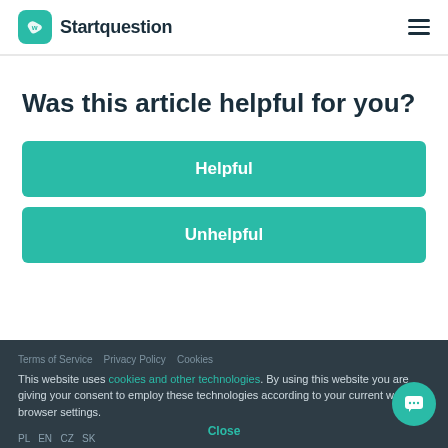Startquestion
Was this article helpful for you?
Helpful
Unhelpful
This website uses cookies and other technologies. By using this website you are giving your consent to employ these technologies according to your current web browser settings.
Close
Terms of Service   Privacy Policy   Cookies   PL   EN   CZ   SK